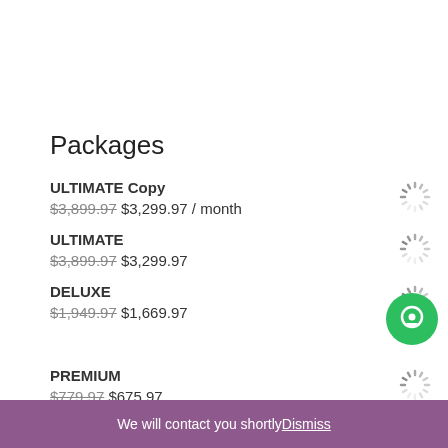Packages
ULTIMATE Copy
$3,899.97 $3,299.97 / month
ULTIMATE
$3,899.97 $3,299.97
DELUXE
$1,949.97 $1,669.97
PREMIUM
$779.97 $675.97
GROW BIG
We will contact you shortly Dismiss